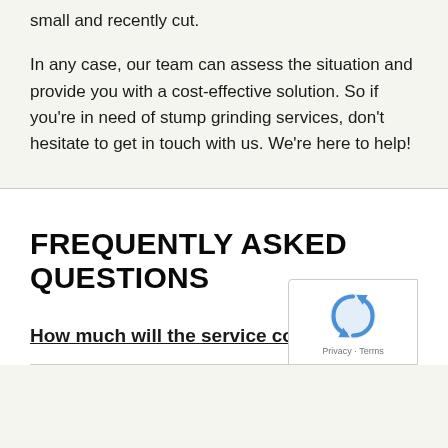small and recently cut.
In any case, our team can assess the situation and provide you with a cost-effective solution. So if you’re in need of stump grinding services, don’t hesitate to get in touch with us. We’re here to help!
FREQUENTLY ASKED QUESTIONS
How much will the service cost?